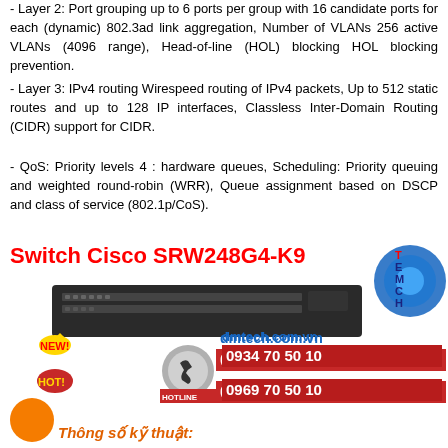- Layer 2: Port grouping up to 6 ports per group with 16 candidate ports for each (dynamic) 802.3ad link aggregation, Number of VLANs 256 active VLANs (4096 range), Head-of-line (HOL) blocking HOL blocking prevention.
- Layer 3: IPv4 routing Wirespeed routing of IPv4 packets, Up to 512 static routes and up to 128 IP interfaces, Classless Inter-Domain Routing (CIDR) support for CIDR.
- QoS: Priority levels 4 : hardware queues, Scheduling: Priority queuing and weighted round-robin (WRR), Queue assignment based on DSCP and class of service (802.1p/CoS).
[Figure (photo): Advertisement for Switch Cisco SRW248G4-K9 showing product image of a 48-port network switch, NEW and HOT stickers, dmtech.com.vn logo and contact hotline numbers 0934 70 50 10 and 0969 70 50 10 with TECH logo]
Thông số kỹ thuật: